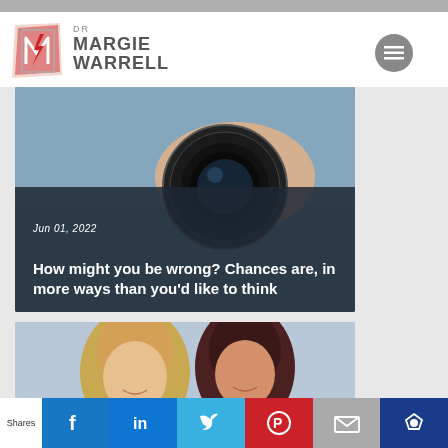[Figure (logo): Dr Margie Warrell logo with stylized M icon]
[Figure (photo): Hand holding a camera lens, article card with date Jun 01, 2022 and title about being wrong]
How might you be wrong? Chances are, in more ways than you'd like to think
Jun 01, 2022
[Figure (photo): Two women smiling, article card]
Shares | Facebook | LinkedIn | Twitter | Pinterest | Email | Crown